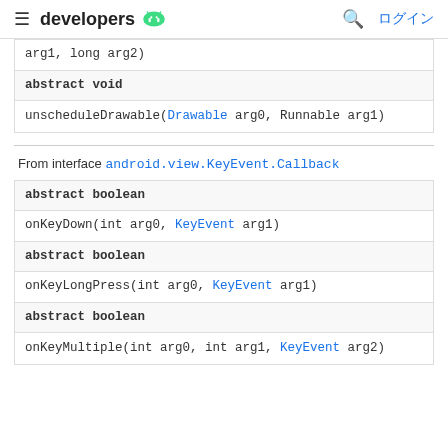developers [android logo] [search] ログイン
| arg1, long arg2) |
| abstract void |
| unscheduleDrawable(Drawable arg0, Runnable arg1) |
From interface android.view.KeyEvent.Callback
| abstract boolean |
| onKeyDown(int arg0, KeyEvent arg1) |
| abstract boolean |
| onKeyLongPress(int arg0, KeyEvent arg1) |
| abstract boolean |
| onKeyMultiple(int arg0, int arg1, KeyEvent arg2) |